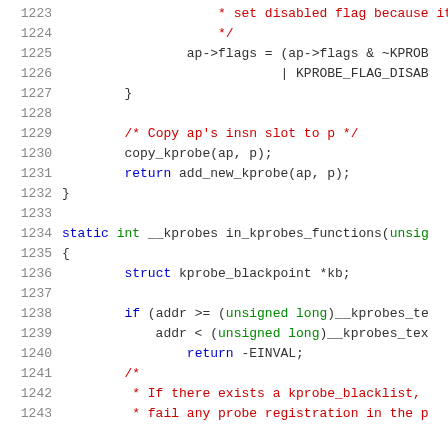Source code listing, lines 1223-1243, showing kprobe registration logic in C